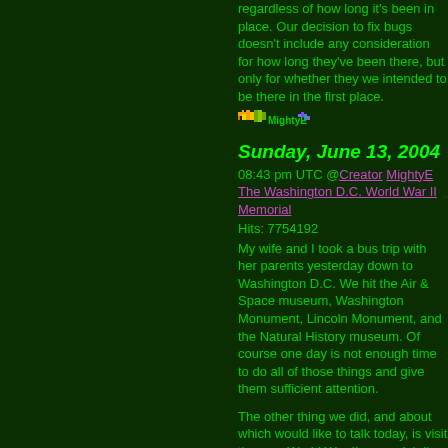regardless of how long it's been in place. Our decision to fix bugs doesn't include any consideration for how long they've been there, but only for whether they were intended to be there in the first place.
[Figure (illustration): Pixel art icon/logo for MightyE blog]
Sunday, June 13, 2004
08:43 pm UTC @Creator MightyE The Washington D.C. World War II Memorial
Hits: 7754192
My wife and I took a bus trip with her parents yesterday down to Washington D.C. We hit the Air & Space museum, Washington Monument, Lincoln Monument, and the Natural History museum. Of course one day is not enough time to do all of those things and give them sufficient attention.
The other thing we did, and about which I would like to talk today, is visit the new World War II memorial. I've never been in a war, and I hope never to be. I cannot fathom what this experience must be like to have lived through something like this, it's somewhat like water understanding what it's like to be oil. They share many the same characteristics, and can even look enough alike that it might be difficult at times to tell them apart, but when you mix them, there is a certain quality that causes the oil to rise above the water, a